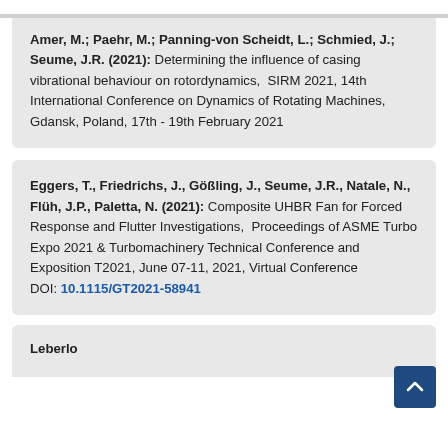Amer, M.; Paehr, M.; Panning-von Scheidt, L.; Schmied, J.; Seume, J.R. (2021): Determining the influence of casing vibrational behaviour on rotordynamics, SIRM 2021, 14th International Conference on Dynamics of Rotating Machines, Gdansk, Poland, 17th - 19th February 2021
Eggers, T., Friedrichs, J., Gößling, J., Seume, J.R., Natale, N., Flüh, J.P., Paletta, N. (2021): Composite UHBR Fan for Forced Response and Flutter Investigations, Proceedings of ASME Turbo Expo 2021 & Turbomachinery Technical Conference and Exposition T2021, June 07-11, 2021, Virtual Conference DOI: 10.1115/GT2021-58941
Leberloeff, S., Kikuchi, S.I., Passow, P., ..., M.E., Kühn, M., ...